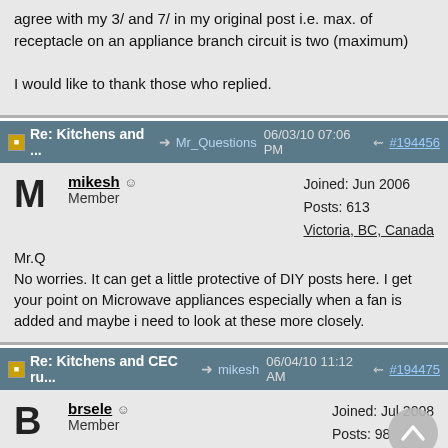agree with my 3/ and 7/ in my original post i.e. max. of receptacle on an appliance branch circuit is two (maximum)

I would like to thank those who replied.
Re: Kitchens and ... → Mr_Questions 06/03/10 07:06 PM #194456
mikesh
Member
Joined: Jun 2006
Posts: 613
Victoria, BC, Canada
Mr.Q
No worries. It can get a little protective of DIY posts here. I get your point on Microwave appliances especially when a fan is added and maybe i need to look at these more closely.
Re: Kitchens and CEC ru... → mikesh 06/04/10 11:12 AM #194475
brsele
Member
Joined: Jul 2008
Posts: 98
Likes: 1